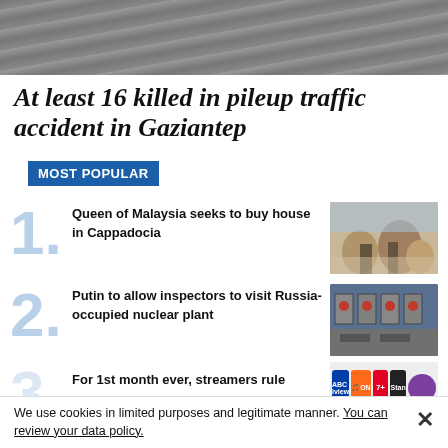[Figure (photo): Aerial view of road/asphalt surface]
At least 16 killed in pileup traffic accident in Gaziantep
MOST POPULAR
1. Queen of Malaysia seeks to buy house in Cappadocia
[Figure (photo): Two women standing in Cappadocia landscape]
2. Putin to allow inspectors to visit Russia-occupied nuclear plant
[Figure (photo): Aerial view of nuclear plant]
For 1st month ever, streamers rule
[Figure (screenshot): Streaming service logos: ABC iview, 9Now, 7Plus, Stan, Binge]
We use cookies in limited purposes and legitimate manner. You can review your data policy.